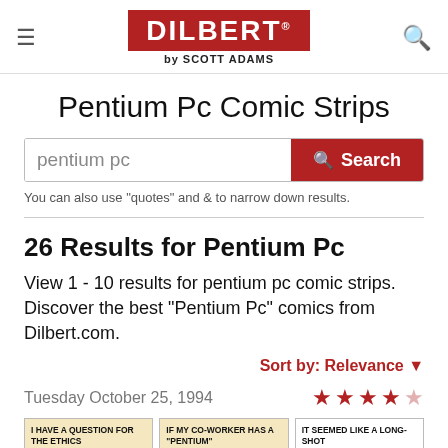DILBERT by SCOTT ADAMS
Pentium Pc Comic Strips
pentium pc [search input]
You can also use "quotes" and & to narrow down results.
26 Results for Pentium Pc
View 1 - 10 results for pentium pc comic strips. Discover the best "Pentium Pc" comics from Dilbert.com.
Sort by: Relevance
Tuesday October 25, 1994
[Figure (illustration): Three Dilbert comic strip thumbnails from Tuesday October 25, 1994, with 4 out of 5 star rating. First panel text: I HAVE A QUESTION FOR THE ETHICS. Second panel text: IF MY CO-WORKER HAS A "PENTIUM". Third panel text: IT SEEMED LIKE A LONG-SHOT.]